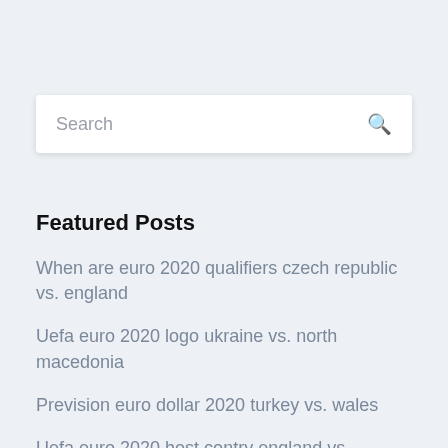Search
Featured Posts
When are euro 2020 qualifiers czech republic vs. england
Uefa euro 2020 logo ukraine vs. north macedonia
Prevision euro dollar 2020 turkey vs. wales
Uefa euro 2020 host contry england vs. scotland
Cbs ny tv schedule switzerland vs. turkey